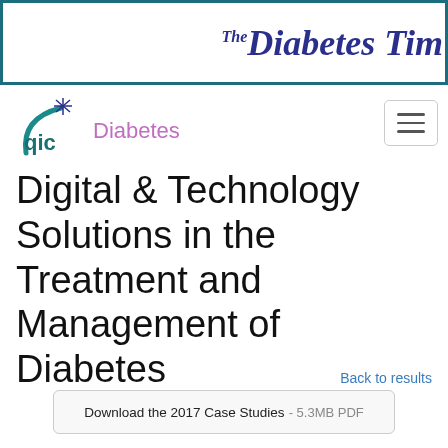The Diabetes Times
[Figure (logo): QIC Diabetes logo with teal arc and star, and purple 'Diabetes' text]
Digital & Technology Solutions in the Treatment and Management of Diabetes
Back to results
Download the 2017 Case Studies - 5.3MB PDF